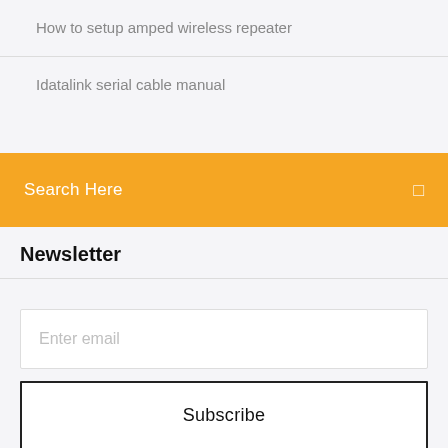How to setup amped wireless repeater
Idatalink serial cable manual
Search Here
Newsletter
Enter email
Subscribe